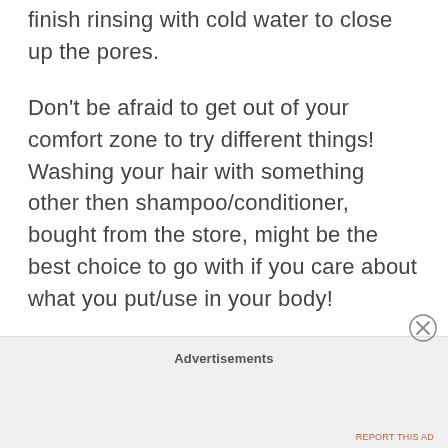finish rinsing with cold water to close up the pores.
Don't be afraid to get out of your comfort zone to try different things! Washing your hair with something other then shampoo/conditioner, bought from the store, might be the best choice to go with if you care about what you put/use in your body!
Advertisements